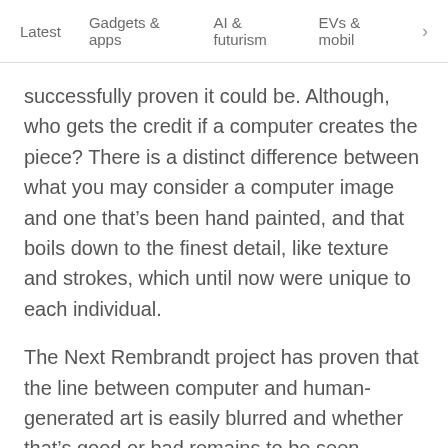Latest   Gadgets & apps   AI & futurism   EVs & mobil >
successfully proven it could be. Although, who gets the credit if a computer creates the piece? There is a distinct difference between what you may consider a computer image and one that’s been hand painted, and that boils down to the finest detail, like texture and strokes, which until now were unique to each individual.
The Next Rembrandt project has proven that the line between computer and human-generated art is easily blurred and whether that’s good or bad remains to be seen.
Published April 6, 2016 · 1:50 pm UTC